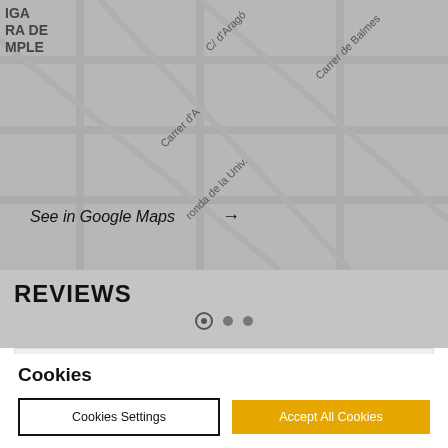[Figure (map): Google Maps screenshot showing Barcelona streets including C/ d'Aragó, Carrer de Balmes, Carrer d'A, ronda de la Univ., Gran Via, Ronda. Greyed out map overlay with street grid.]
See in Google Maps →
REVIEWS
We use first and third-party cookies to track your browsing activity on this website in order to improve our services and personalize your experience. For further information, check our Cookies Policy
Cookies Settings
Accept All Cookies